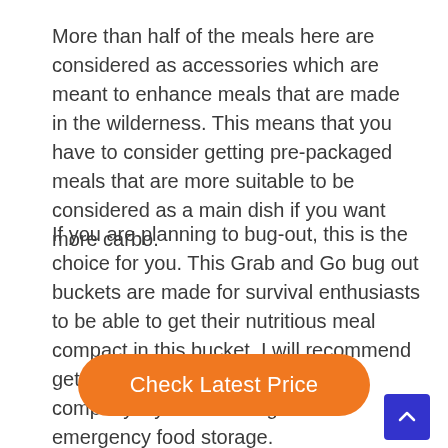More than half of the meals here are considered as accessories which are meant to enhance meals that are made in the wilderness. This means that you have to consider getting pre-packaged meals that are more suitable to be considered as a main dish if you want more carbo.
If you are planning to bug-out, this is the choice for you. This Grab and Go bug out buckets are made for survival enthusiasts to be able to get their nutritious meal compact in this bucket. I will recommend getting a Survival Food kit from this company if you want long-term emergency food storage.
[Figure (other): Orange rounded button labeled 'Check Latest Price']